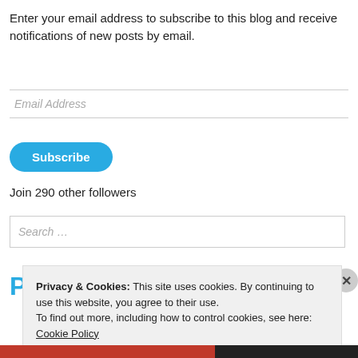Enter your email address to subscribe to this blog and receive notifications of new posts by email.
Email Address
Subscribe
Join 290 other followers
Search ...
Privacy & Cookies: This site uses cookies. By continuing to use this website, you agree to their use.
To find out more, including how to control cookies, see here: Cookie Policy
Close and accept